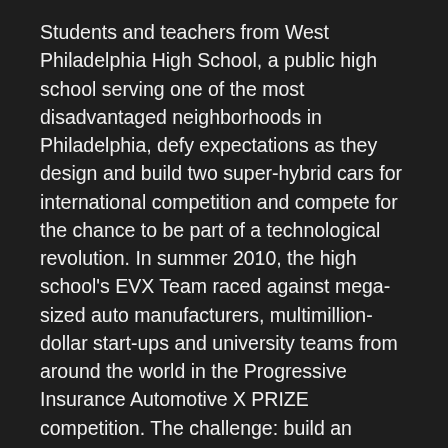Students and teachers from West Philadelphia High School, a public high school serving one of the most disadvantaged neighborhoods in Philadelphia, defy expectations as they design and build two super-hybrid cars for international competition and compete for the chance to be part of a technological revolution. In summer 2010, the high school's EVX Team raced against mega-sized auto manufacturers, multimillion-dollar start-ups and university teams from around the world in the Progressive Insurance Automotive X PRIZE competition. The challenge: build an affordable, 100 miles-per-gallon car. The prize: $10 million dollars. FRONTLINE explores the viability of these cars, the potential that exists within our young people and the prospects of effective innovation in public education.